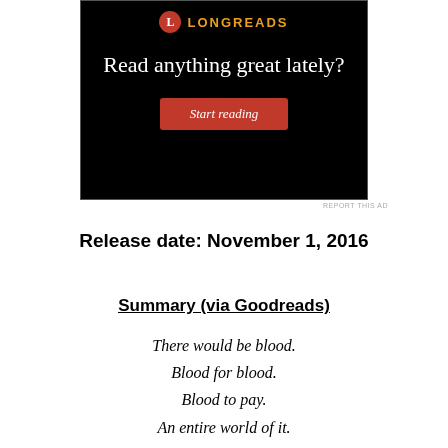[Figure (other): Longreads advertisement banner with black background, orange Longreads logo text with red circle L icon, white headline text 'Read anything great lately?' and a red 'Start reading' button]
REPORT THIS AD
Release date: November 1, 2016
Summary (via Goodreads)
There would be blood.
Blood for blood.
Blood to pay.
An entire world of it.